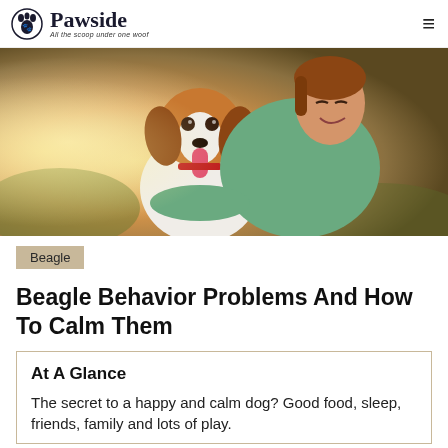Pawside — All the scoop under one woof
[Figure (photo): A smiling young woman with brown hair holding and cuddling a beagle puppy with tongue out, outdoors with warm golden light]
Beagle
Beagle Behavior Problems And How To Calm Them
At A Glance
The secret to a happy and calm dog? Good food, sleep, friends, family and lots of play.